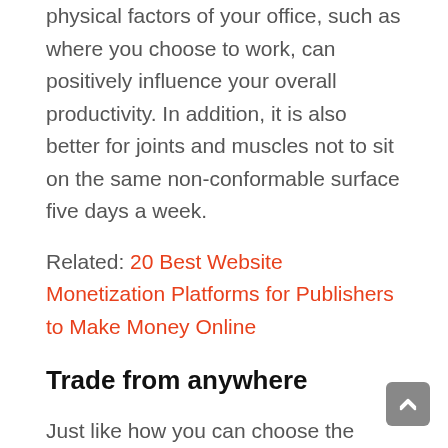physical factors of your office, such as where you choose to work, can positively influence your overall productivity. In addition, it is also better for joints and muscles not to sit on the same non-conformable surface five days a week.
Related: 20 Best Website Monetization Platforms for Publishers to Make Money Online
Trade from anywhere
Just like how you can choose the surface from which to work, you can choose exactly where you would like to work remotely from. Working in the same space five days a week can get boring and make you feel uninspired. Periodically changing